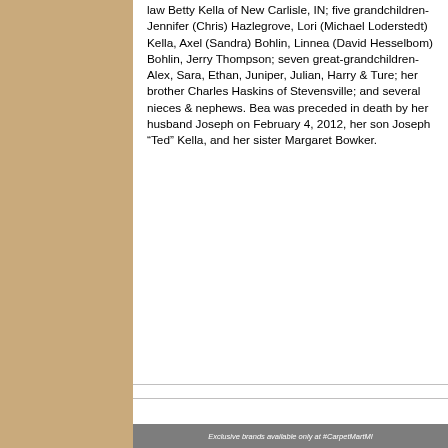law Betty Kella of New Carlisle, IN; five grandchildren-Jennifer (Chris) Hazlegrove, Lori (Michael Loderstedt) Kella, Axel (Sandra) Bohlin, Linnea (David Hesselbom) Bohlin, Jerry Thompson; seven great-grandchildren-Alex, Sara, Ethan, Juniper, Julian, Harry & Ture; her brother Charles Haskins of Stevensville; and several nieces & nephews. Bea was preceded in death by her husband Joseph on February 4, 2012, her son Joseph “Ted” Kella, and her sister Margaret Bowker.
Exclusive brands available only at #CarpetMartMI